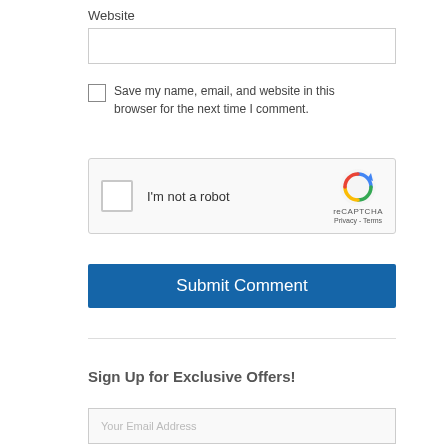Website
[Figure (screenshot): Empty text input field for Website URL]
Save my name, email, and website in this browser for the next time I comment.
[Figure (screenshot): reCAPTCHA widget with checkbox labeled 'I'm not a robot' and reCAPTCHA logo with Privacy and Terms links]
[Figure (screenshot): Blue Submit Comment button]
Sign Up for Exclusive Offers!
[Figure (screenshot): Email address input field with placeholder text 'Your Email Address']